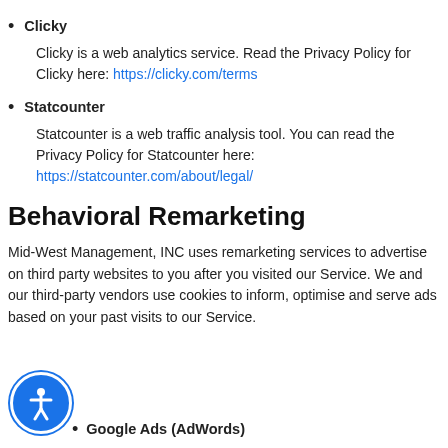Clicky
Clicky is a web analytics service. Read the Privacy Policy for Clicky here: https://clicky.com/terms
Statcounter
Statcounter is a web traffic analysis tool. You can read the Privacy Policy for Statcounter here: https://statcounter.com/about/legal/
Behavioral Remarketing
Mid-West Management, INC uses remarketing services to advertise on third party websites to you after you visited our Service. We and our third-party vendors use cookies to inform, optimise and serve ads based on your past visits to our Service.
Google Ads (AdWords)